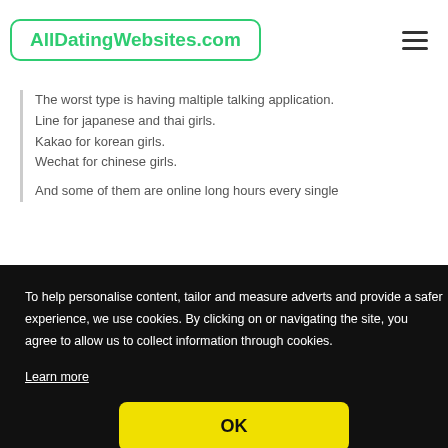AllDatingWebsites.com
The worst type is having maltiple talking application.
Line for japanese and thai girls.
Kakao for korean girls.
Wechat for chinese girls.
And some of them are online long hours every single
To help personalise content, tailor and measure adverts and provide a safer experience, we use cookies. By clicking on or navigating the site, you agree to allow us to collect information through cookies.
Learn more
OK
Geek.